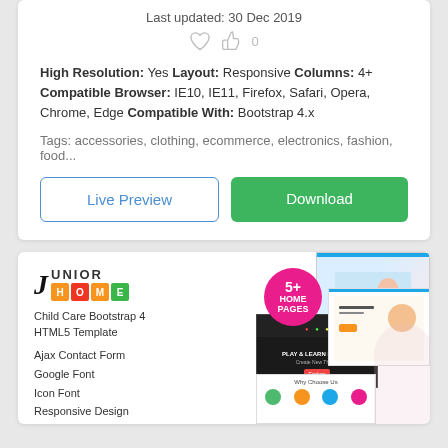Last updated: 30 Dec 2019
High Resolution: Yes Layout: Responsive Columns: 4+ Compatible Browser: IE10, IE11, Firefox, Safari, Opera, Chrome, Edge Compatible With: Bootstrap 4.x
Tags: accessories, clothing, ecommerce, electronics, fashion, food...
Live Preview
Download
[Figure (screenshot): Junior Home - Child Care Bootstrap 4 HTML5 Template product card showing logo, feature list, and screenshot mosaic with 5+ HOME PAGES badge]
Child Care Bootstrap 4 HTML5 Template
Ajax Contact Form
Google Font
Icon Font
Responsive Design